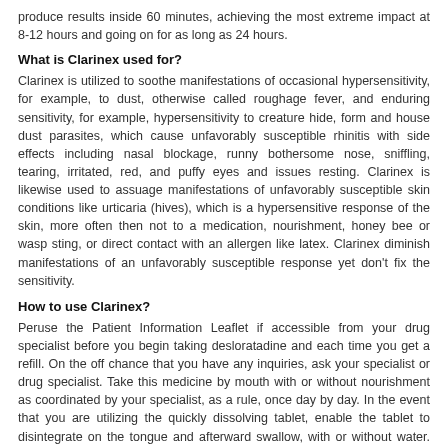produce results inside 60 minutes, achieving the most extreme impact at 8-12 hours and going on for as long as 24 hours.
What is Clarinex used for?
Clarinex is utilized to soothe manifestations of occasional hypersensitivity, for example, to dust, otherwise called roughage fever, and enduring sensitivity, for example, hypersensitivity to creature hide, form and house dust parasites, which cause unfavorably susceptible rhinitis with side effects including nasal blockage, runny bothersome nose, sniffling, tearing, irritated, red, and puffy eyes and issues resting. Clarinex is likewise used to assuage manifestations of unfavorably susceptible skin conditions like urticaria (hives), which is a hypersensitive response of the skin, more often then not to a medication, nourishment, honey bee or wasp sting, or direct contact with an allergen like latex. Clarinex diminish manifestations of an unfavorably susceptible response yet don't fix the sensitivity.
How to use Clarinex?
Peruse the Patient Information Leaflet if accessible from your drug specialist before you begin taking desloratadine and each time you get a refill. On the off chance that you have any inquiries, ask your specialist or drug specialist. Take this medicine by mouth with or without nourishment as coordinated by your specialist, as a rule, once day by day. In the event that you are utilizing the quickly dissolving tablet, enable the tablet to disintegrate on the tongue and afterward swallow, with or without water. Try not to expel the tablet from the rankle pack until just before utilizing. The dose depends on your age, ailment, and reaction to treatment. Try not to expand your portion or take this prescription more frequently than coordinated. Tell your specialist if your condition does not improve or in the event that it exacerbates.
Dosage
Missed Dose